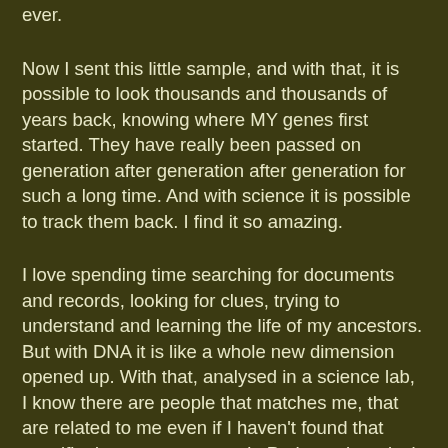ever.
Now I sent this little sample, and with that, it is possible to look thousands and thousands of years back, knowing where MY genes first started. They have really been passed on generation after generation after generation for such a long time. And with science it is possible to track them back. I find it so amazing.
I love spending time searching for documents and records, looking for clues, trying to understand and learning the life of my ancestors. But with DNA it is like a whole new dimension opened up. With that, analysed in a science lab, I know there are people that matches me, that are related to me even if I haven't found that specific document to prove it. Perhaps there isn't any document at all, it might be over 20 generations back in time. But still, that exact person and I are related. And we didn't know.
I had two things analysed. First one is called Family Finder. With that, I can find decendants of my greatgreatgrand parents. I got a lot of matches in the FamilyTreeDNA